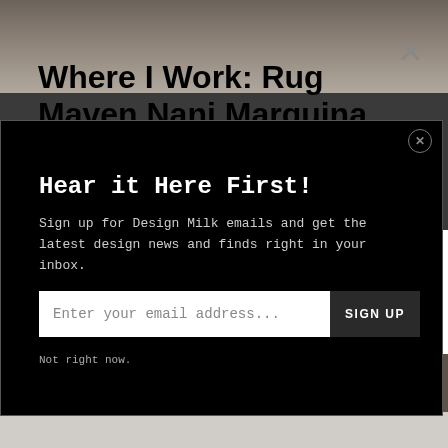Where I Work: Rug Maven Nani Marquina
Hear it Here First!
Sign up for Design Milk emails and get the latest design news and finds right in your inbox.
Enter your email address...
SIGN UP
Not right now.
[Figure (photo): Interior room photograph showing a wall with artwork and windows, partially obscured by newsletter signup modal overlay]